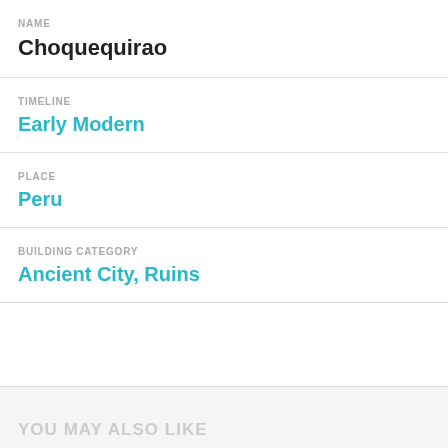NAME
Choquequirao
TIMELINE
Early Modern
PLACE
Peru
BUILDING CATEGORY
Ancient City, Ruins
YOU MAY ALSO LIKE